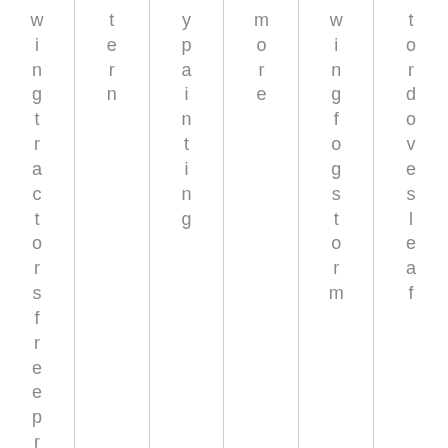| wingtra ctorsfre epri | tern | ypainting | more | wingfogstorm | tordovesleaf |